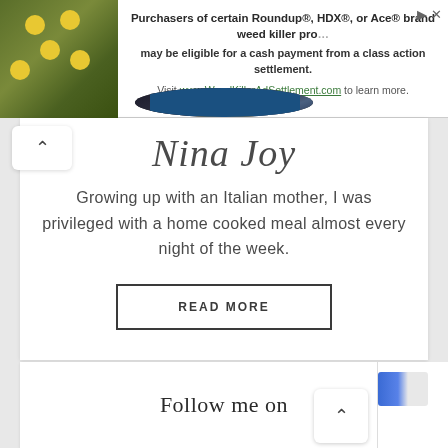[Figure (screenshot): Advertisement banner: plant/flowers photo on left, text about Roundup/HDX/Ace brand weed killer class action settlement, link to WeedKillerAdSettlement.com]
[Figure (photo): Circular profile photo of Nina Joy, a woman with long blonde/brown hair wearing a blue denim jacket]
Nina Joy
Growing up with an Italian mother, I was privileged with a home cooked meal almost every night of the week.
READ MORE
Follow me on